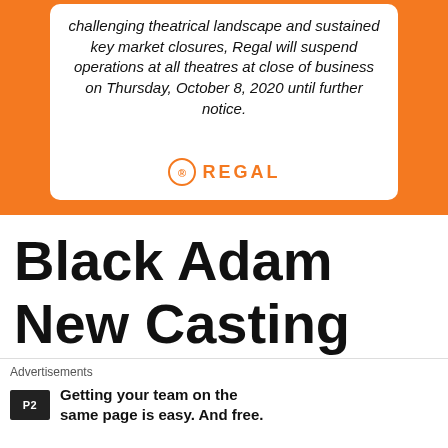[Figure (other): Regal Cinemas announcement card on orange background. White rounded card with italic text about suspending theatre operations and Regal logo.]
Black Adam New Casting
The most hyped film, that gave us casting news was
Advertisements
Getting your team on the same page is easy. And free.